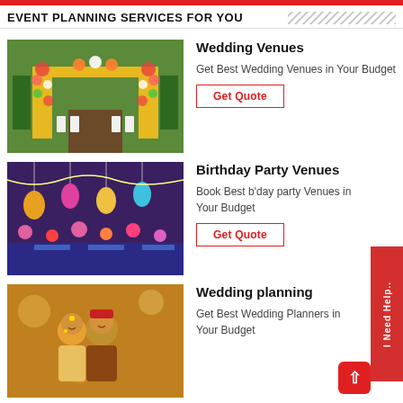EVENT PLANNING SERVICES FOR YOU
[Figure (photo): Decorated wedding outdoor venue with yellow drapes and floral archway]
Wedding Venues
Get Best Wedding Venues in Your Budget
Get Quote
[Figure (photo): Birthday party venue with colorful hanging decorations and lights]
Birthday Party Venues
Book Best b'day party Venues in Your Budget
Get Quote
[Figure (photo): Indian wedding couple portrait]
Wedding planning
Get Best Wedding Planners in Your Budget